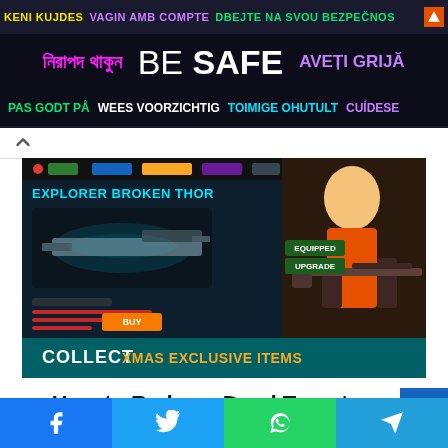[Figure (infographic): Multilingual 'BE SAFE' public safety advertisement banner with text in multiple languages including Albanian (KENI KUJDES), Bengali (নিরাপদ থাকুন), Czech (DBEJTE NA SVOU BEZPEČNOST), Romanian (AVEȚI GRIJĂ), Danish (PAS GODT PÅ), Dutch (WEES VOORZICHTIG), Estonian (TOIMIGE OHUTULT), Spanish (CUÍDESE). Center text reads 'BE SAFE' in large white and bold white letters on dark background.]
[Figure (screenshot): Screenshot of Dead Target mobile game showing 'EXPLORER BROKEN THOR' weapon with a female character holding a sniper rifle, and text 'COLLECT XMAS EXCLUSIVE ITEMS' at the bottom.]
How to Redeem Dead Target Codes